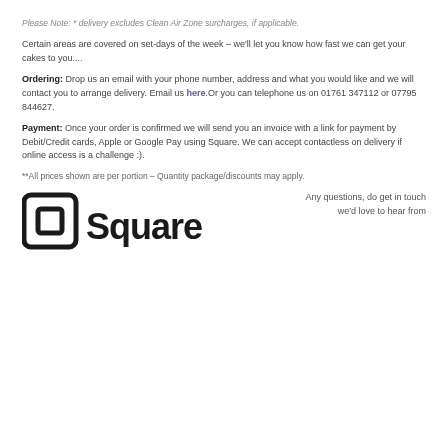Please Note: * delivery excludes Clean Air Zone surcharges, if applicable.
Certain areas are covered on set-days of the week – we'll let you know how fast we can get your cakes to you....
Ordering: Drop us an email with your phone number, address and what you would like and we will contact you to arrange delivery. Email us here.Or you can telephone us on 01761 347112 or 07795 844627.
Payment: Once your order is confirmed we will send you an invoice with a link for payment by Debit/Credit cards, Apple or Google Pay using Square. We can accept contactless on delivery if online access is a challenge :).
**All prices shown are per portion – Quantity package/discounts may apply.
[Figure (logo): Square payment logo with icon and text]
Any questions, do get in touch we'd love to hear from